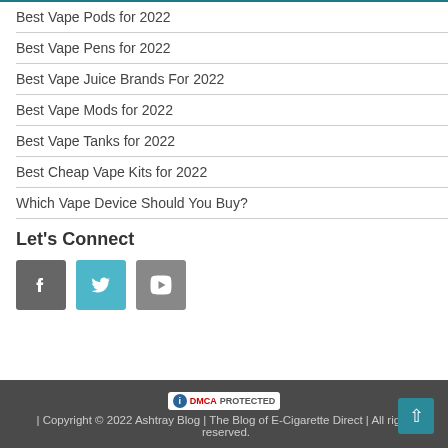Best Vape Pods for 2022
Best Vape Pens for 2022
Best Vape Juice Brands For 2022
Best Vape Mods for 2022
Best Vape Tanks for 2022
Best Cheap Vape Kits for 2022
Which Vape Device Should You Buy?
Let's Connect
[Figure (other): Social media icons: Facebook (dark grey), Twitter (teal), YouTube (grey)]
DMCA PROTECTED | Copyright © 2022 Ashtray Blog | The Blog of E-Cigarette Direct | All rights reserved.